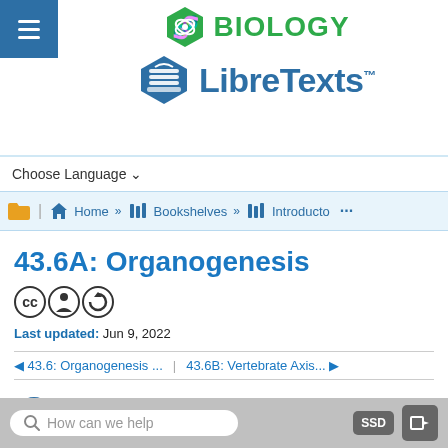[Figure (logo): Biology LibreTexts logo with green hexagon DNA icon and blue book hexagon icon]
Choose Language ▾
≡ (hamburger menu)
🏠 Home » 📚 Bookshelves » 📚 Introducto ...
43.6A: Organogenesis
[Figure (logo): Creative Commons license icons: CC, BY, SA]
Last updated: Jun 9, 2022
◄ 43.6: Organogenesis ... | 43.6B: Vertebrate Axis... ►
Boundless
How can we help